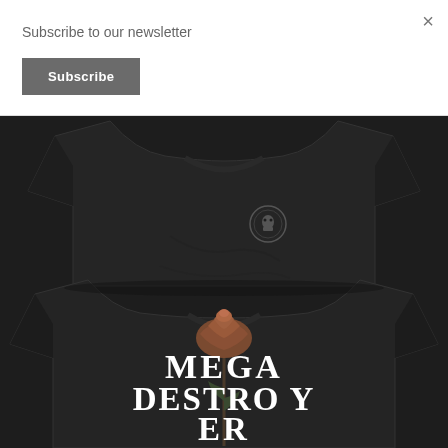Subscribe to our newsletter
Subscribe
×
[Figure (photo): Two black t-shirts displayed: the front view shows a small circular skull logo on the chest; the back view shows a brown rose graphic with bold white serif text reading MEGA DESTROYER]